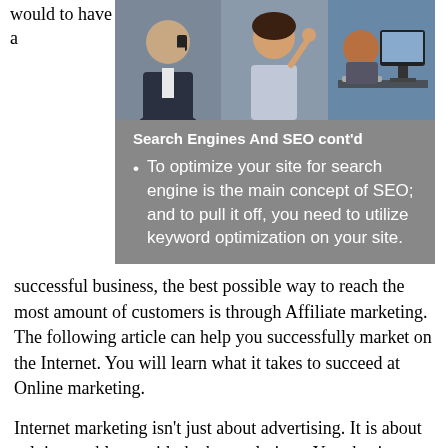would to have a
[Figure (illustration): Slide presentation image showing three business people (one on phone in suit, one woman gesturing, one at computer) with a gray background panel below titled 'Search Engines And SEO cont'd' with a bullet point about optimizing your site for search engines using keyword optimization.]
successful business, the best possible way to reach the most amount of customers is through Affiliate marketing. The following article can help you successfully market on the Internet. You will learn what it takes to succeed at Online marketing.
Internet marketing isn't just about advertising. It is about solving problems with the best solutions. Your business will have a good foundation if you approach everyday with a clear understanding of how to answer the questions. If you are able to provide a good